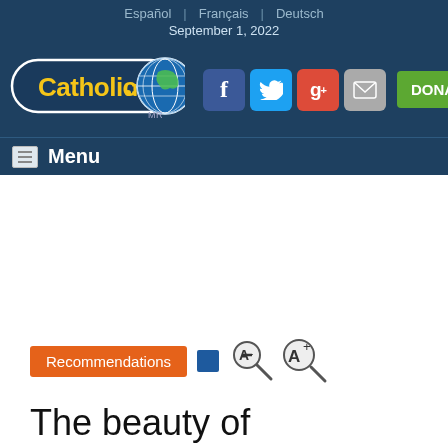Español | Français | Deutsch
September 1, 2022
[Figure (logo): Catholic.net logo with globe graphic and MR mark]
[Figure (infographic): Social media icons: Facebook, Twitter, Google+, Email, and DONATE NOW button]
Menu
Recommendations
The beauty of hell